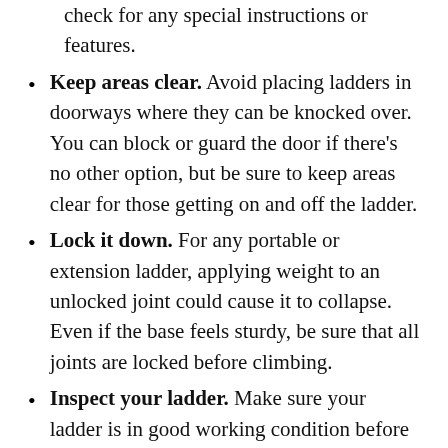check for any special instructions or features.
Keep areas clear. Avoid placing ladders in doorways where they can be knocked over. You can block or guard the door if there's no other option, but be sure to keep areas clear for those getting on and off the ladder.
Lock it down. For any portable or extension ladder, applying weight to an unlocked joint could cause it to collapse. Even if the base feels sturdy, be sure that all joints are locked before climbing.
Inspect your ladder. Make sure your ladder is in good working condition before you use it. If you find bent and broken pieces, mark the ladder as unusable and dispose of or repair it.
Wear proper attire. Clothing and gear should